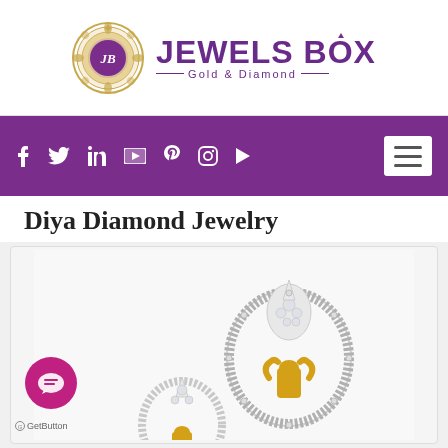[Figure (logo): Jewels Box Gold & Diamond logo with ornate circular emblem and purple brand name text]
[Figure (screenshot): Purple navigation bar with social media icons (Facebook, Twitter, LinkedIn, YouTube, Pinterest, Instagram, Play) and hamburger menu button]
Diya Diamond Jewelry
[Figure (photo): Diya diamond jewelry pieces showing silver and gold ornamental pendants/earrings with diamond clusters in diya (lamp) shape]